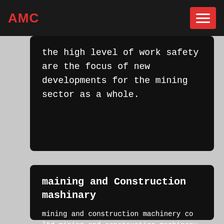AMC
the high level of work safety are the focus of new developments for the mining sector as a whole.
maining and Construction mashinary
mining and construction machinery co ltd mining and construction machinery bm shanghai machinery coltdwill attend the bauma 2016 31st edition of the worlds leading trade fair for construction machinery,building material machines,mining it ...